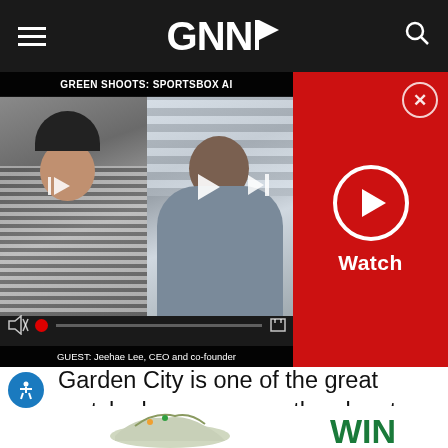GNN
[Figure (screenshot): Video player showing Green Shoots: Sportsbox AI episode with two people on screen, playback controls, and red Watch panel with play button on the right side. Guest caption reads: GUEST: Jeehae Lee, CEO and co-founder]
Garden City is one of the great match play venues on the planet with its long list of “half-par” holes. Mike Strantz-designed Tobacco Road was voted the most adventurous course in America, and everyone can stay at Pinehurst for the week.
[Figure (photo): Bottom portion showing a golf shoe and WIN text in green]